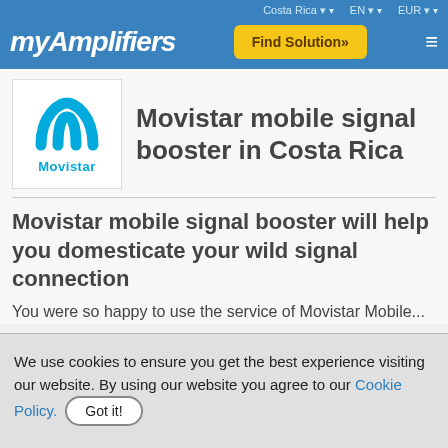Costa Rica | EN | EUR
myAmplifiers | Find Solution» | ☰
[Figure (logo): Movistar logo: blue letter M with Movistar text below in blue]
Movistar mobile signal booster in Costa Rica
Movistar mobile signal booster will help you domesticate your wild signal connection
You were so happy to use the service of Movistar Mobile...
We use cookies to ensure you get the best experience visiting our website. By using our website you agree to our Cookie Policy. Got it!